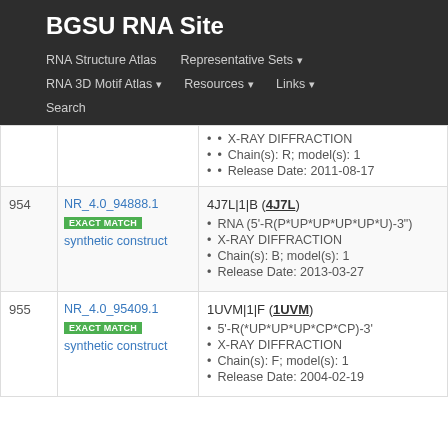BGSU RNA Site
RNA Structure Atlas | Representative Sets | RNA 3D Motif Atlas | Resources | Links | Search
| # | ID | Details |
| --- | --- | --- |
|  |  | X-RAY DIFFRACTION
Chain(s): R; model(s): 1
Release Date: 2011-08-17 |
| 954 | NR_4.0_94888.1
EXACT MATCH
synthetic construct | 4J7L|1|B (4J7L)
RNA (5'-R(P*UP*UP*UP*UP*U)-3")
X-RAY DIFFRACTION
Chain(s): B; model(s): 1
Release Date: 2013-03-27 |
| 955 | NR_4.0_95409.1
EXACT MATCH
synthetic construct | 1UVM|1|F (1UVM)
5'-R(*UP*UP*UP*CP*CP)-3'
X-RAY DIFFRACTION
Chain(s): F; model(s): 1
Release Date: 2004-02-19 |